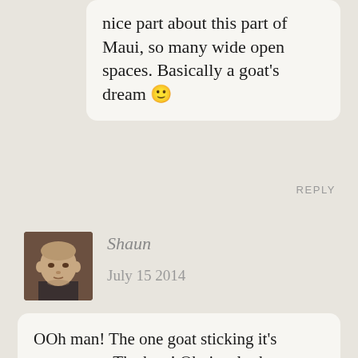nice part about this part of Maui, so many wide open spaces. Basically a goat's dream 🙂
REPLY
[Figure (photo): Avatar photo of commenter Shaun – a man with a shaved head, looking at the camera]
Shaun
July 15 2014
OOh man! The one goat sticking it's tongue out. The best! Obviously the McFlurries of goatsville, lol.

My uncle is a certified permaculturist and I've learned so much about sustainable farming from him. He just got goats this year and they are all insane in the goat brain. Very entertaining. He